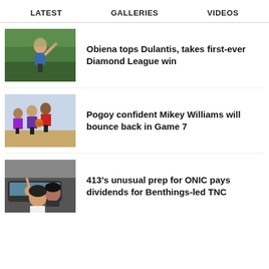LATEST   GALLERIES   VIDEOS
Obiena tops Dulantis, takes first-ever Diamond League win
Pogoy confident Mikey Williams will bounce back in Game 7
413’s unusual prep for ONIC pays dividends for Benthings-led TNC